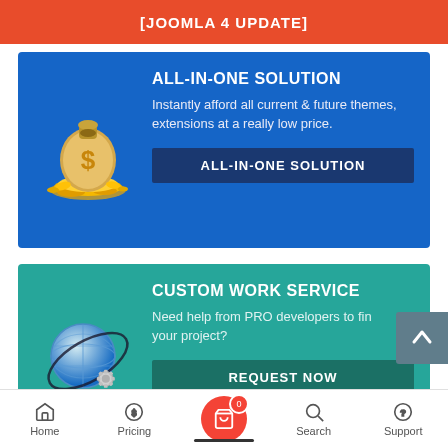[JOOMLA 4 UPDATE]
ALL-IN-ONE SOLUTION
Instantly afford all current & future themes, extensions at a really low price.
ALL-IN-ONE SOLUTION
CUSTOM WORK SERVICE
Need help from PRO developers to finish your project?
REQUEST NOW
Home   Pricing   [Cart 0]   Search   Support